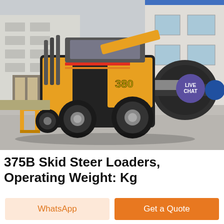[Figure (photo): A yellow and black 380 skid steer loader with large tires on a concrete surface. The machine has a sweeper/brush attachment on the right side and a fork attachment on the left. A building with windows is visible in the background. A purple 'LIVE CHAT' badge overlays the upper right of the image.]
375B Skid Steer Loaders, Operating Weight: Kg
WhatsApp
Get a Quote